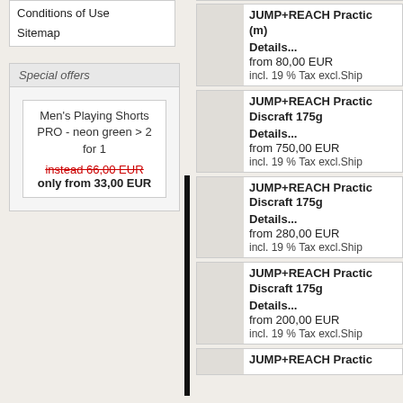Conditions of Use
Sitemap
Special offers
Men's Playing Shorts PRO - neon green > 2 for 1
instead 66,00 EUR
only from 33,00 EUR
JUMP+REACH Practic... (m)
Details...
from 80,00 EUR
incl. 19 % Tax excl.Ship
JUMP+REACH Practic... Discraft 175g
Details...
from 750,00 EUR
incl. 19 % Tax excl.Ship
JUMP+REACH Practic... Discraft 175g
Details...
from 280,00 EUR
incl. 19 % Tax excl.Ship
JUMP+REACH Practic... Discraft 175g
Details...
from 200,00 EUR
incl. 19 % Tax excl.Ship
JUMP+REACH Practic...